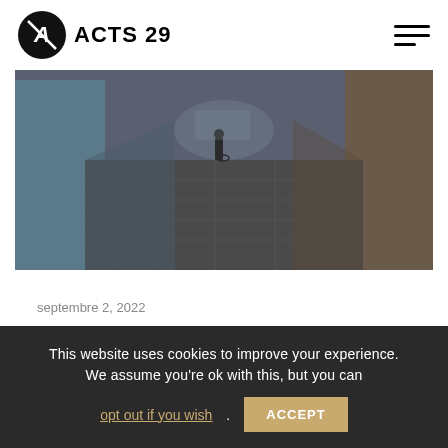ACTS 29
[Figure (photo): A narrow cobblestone street in Latin America with colorful buildings on either side, a person visible in the distance, taken at dusk or evening.]
septembre 2, 2022
3 Challenges that Mature Latin American Church Planters
This website uses cookies to improve your experience. We assume you're ok with this, but you can opt out if you wish. ACCEPT